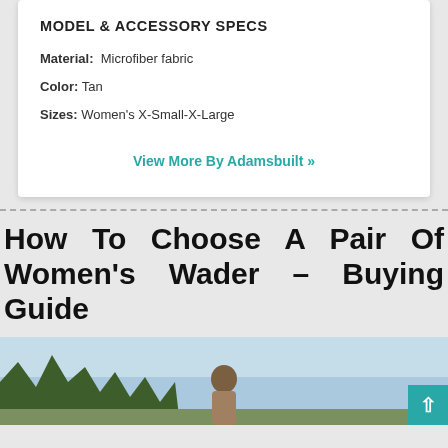MODEL & ACCESSORY SPECS
Material: Microfiber fabric
Color: Tan
Sizes: Women's X-Small-X-Large
View More By Adamsbuilt »
How To Choose A Pair Of Women's Wader – Buying Guide
[Figure (photo): Photo of a person in waders standing outdoors with trees and sky in the background]